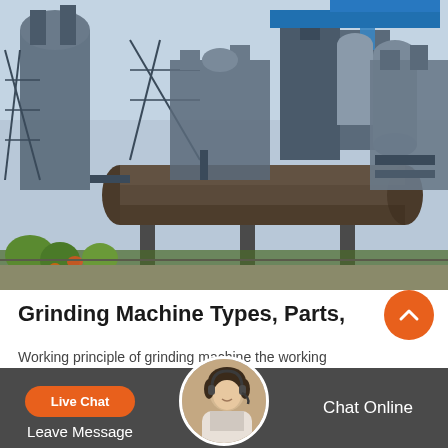[Figure (photo): Industrial facility with large cylindrical rotary kilns/mills, metal framework structures, silos, and blue roofing. Outdoor industrial plant with green vegetation in the foreground.]
Grinding Machine Types, Parts, Working Amp
Working principle of grinding machine the working principle ofrinding machine is quite easier to understand.. inrinding machine, there is an electric motor which supplies the motion...
[Figure (photo): Customer service representative with headset, circular portrait photo used as chat support icon in footer.]